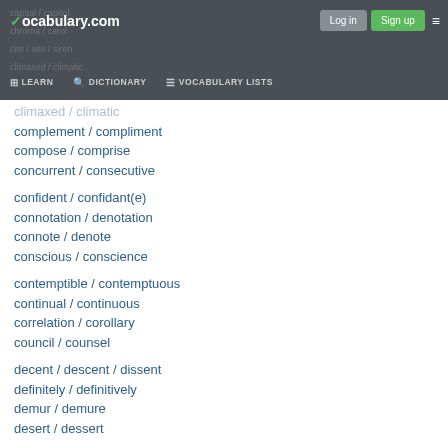vocabulary.com — Log in | Sign up | LEARN | DICTIONARY | VOCABULARY LISTS
complement / compliment
compose / comprise
concurrent / consecutive
confident / confidant(e)
connotation / denotation
connote / denote
conscious / conscience
contemptible / contemptuous
continual / continuous
correlation / corollary
council / counsel
decent / descent / dissent
definitely / definitively
demur / demure
desert / dessert
didactic / pedantic
disassemble / dissemble
discomfit / discomfort
discreet / discrete